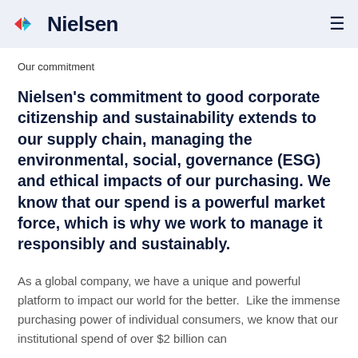Nielsen
Our commitment
Nielsen's commitment to good corporate citizenship and sustainability extends to our supply chain, managing the environmental, social, governance (ESG) and ethical impacts of our purchasing. We know that our spend is a powerful market force, which is why we work to manage it responsibly and sustainably.
As a global company, we have a unique and powerful platform to impact our world for the better.  Like the immense purchasing power of individual consumers, we know that our institutional spend of over $2 billion can